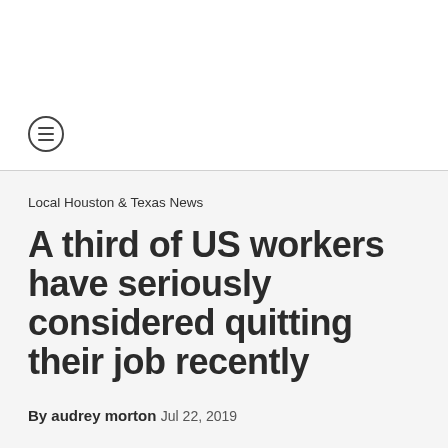Local Houston & Texas News
A third of US workers have seriously considered quitting their job recently
By audrey morton
Jul 22, 2019